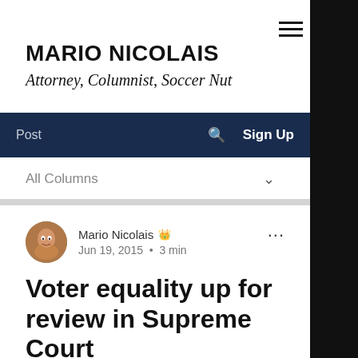MARIO NICOLAIS
Attorney, Columnist, Soccer Nut
Post  🔍  Sign Up
All Columns
Mario Nicolais  Admin
Jun 19, 2015  •  3 min
Voter equality up for review in Supreme Court
One person, one vote.